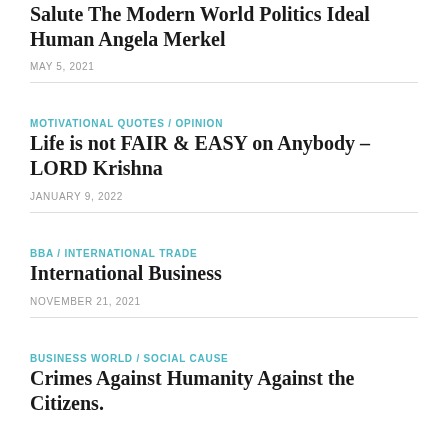Salute The Modern World Politics Ideal Human Angela Merkel
MAY 5, 2021
MOTIVATIONAL QUOTES / OPINION
Life is not FAIR & EASY on Anybody – LORD Krishna
JANUARY 9, 2022
BBA / INTERNATIONAL TRADE
International Business
NOVEMBER 21, 2021
BUSINESS WORLD / SOCIAL CAUSE
Crimes Against Humanity Against the Citizens.